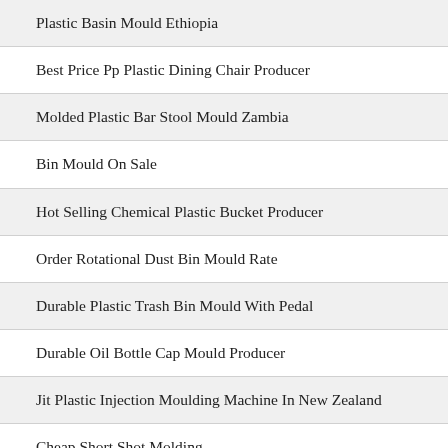Plastic Basin Mould Ethiopia
Best Price Pp Plastic Dining Chair Producer
Molded Plastic Bar Stool Mould Zambia
Bin Mould On Sale
Hot Selling Chemical Plastic Bucket Producer
Order Rotational Dust Bin Mould Rate
Durable Plastic Trash Bin Mould With Pedal
Durable Oil Bottle Cap Mould Producer
Jit Plastic Injection Moulding Machine In New Zealand
Cheap Short Shot Molding